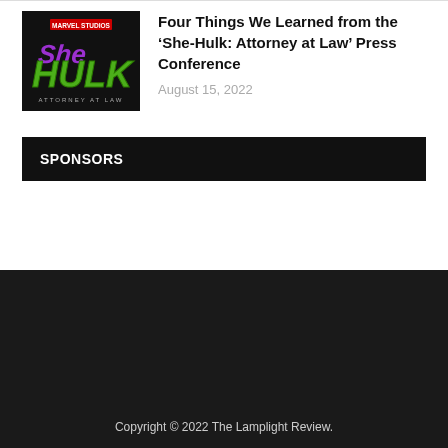[Figure (logo): She-Hulk: Attorney at Law Marvel Studios logo on black background]
Four Things We Learned from the ‘She-Hulk: Attorney at Law’ Press Conference
August 15, 2022
SPONSORS
Copyright © 2022 The Lamplight Review.